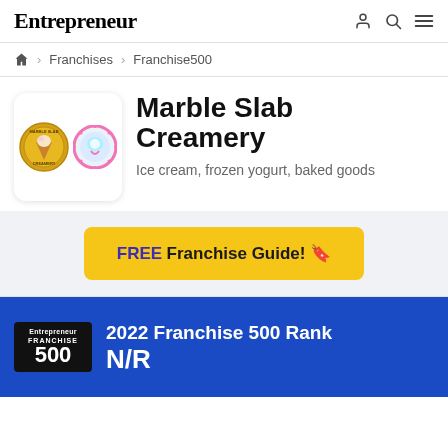Entrepreneur
Franchises > Franchise500
Marble Slab Creamery
Ice cream, frozen yogurt, baked goods
FREE Franchise Guide!
2022 Franchise 500 Rank N/R